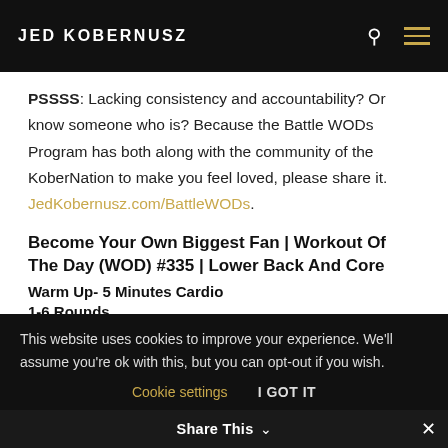JED KOBERNUSZ
PSSSS: Lacking consistency and accountability? Or know someone who is? Because the Battle WODs Program has both along with the community of the KoberNation to make you feel loved, please share it. JedKobernusz.com/BattleWODs.
Become Your Own Biggest Fan | Workout Of The Day (WOD) #335 | Lower Back And Core
Warm Up- 5 Minutes Cardio
1-6 Rounds
Prone Opposite Arm + Leg – 30-40 Reps Total
This website uses cookies to improve your experience. We'll assume you're ok with this, but you can opt-out if you wish.
Cookie settings   I GOT IT
Share This